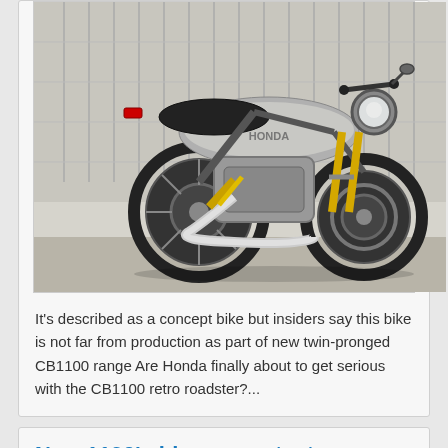[Figure (photo): Silver/chrome retro Honda CB1100 concept motorcycle parked outdoors, three-quarter rear view showing single exhaust, golden rear suspension, wire wheels, and round headlight.]
It's described as a concept bike but insiders say this bike is not far from production as part of new twin-pronged CB1100 range Are Honda finally about to get serious with the CB1100 retro roadster?...
New 1190's big screen test
02 March 2016 by Andy Downes